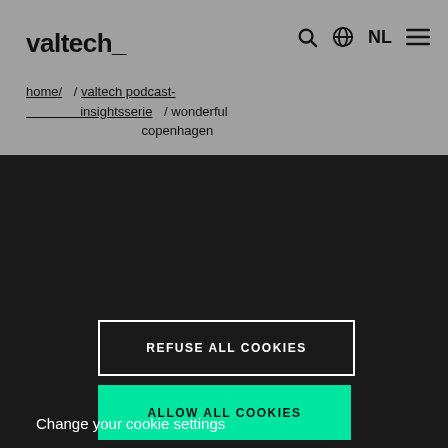valtech_
home/ / valtech podcast-insightsserie / wonderful copenhagen
[Figure (screenshot): Dark blurred background image area]
REFUSE ALL COOKIES
ALLOW ALL COOKIES
Change your cookie settings